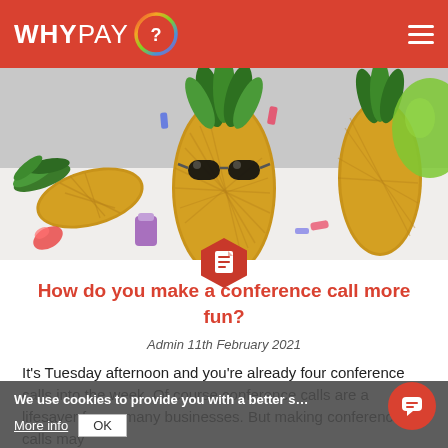WHYPAY?
[Figure (photo): Colorful pineapples with sunglasses and party accessories on a white background, festive summer theme]
How do you make a conference call more fun?
Admin 11th February 2021
It's Tuesday afternoon and you're already four conference calls into the week. Of course conference calls are a lifesaver for so many businesses. But making conference calls more
We use cookies to provide you with a better s…
More info
OK